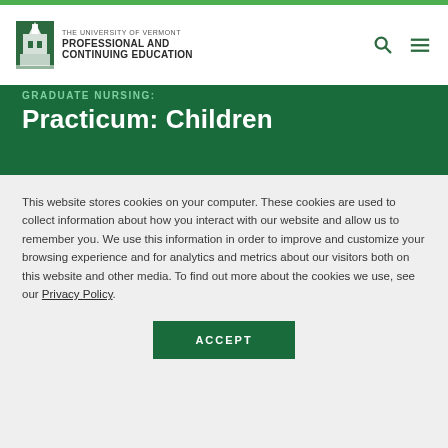THE UNIVERSITY OF VERMONT PROFESSIONAL AND CONTINUING EDUCATION
GRADUATE NURSING:
Practicum: Children
This website stores cookies on your computer. These cookies are used to collect information about how you interact with our website and allow us to remember you. We use this information in order to improve and customize your browsing experience and for analytics and metrics about our visitors both on this website and other media. To find out more about the cookies we use, see our Privacy Policy.
ACCEPT